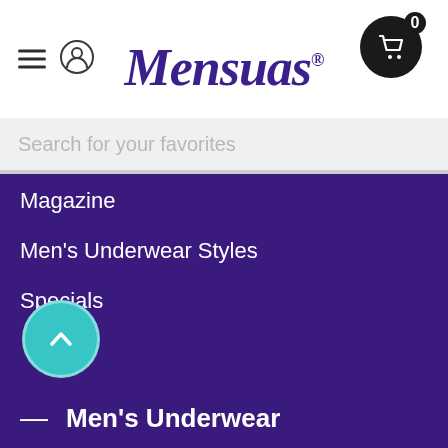Mensuas
Magazine
Men's Underwear Styles
Specials
Men's Underwear
Men's Accessories
Men's Bikinis
Men's Boxer Briefs
Men's Boxer Shorts